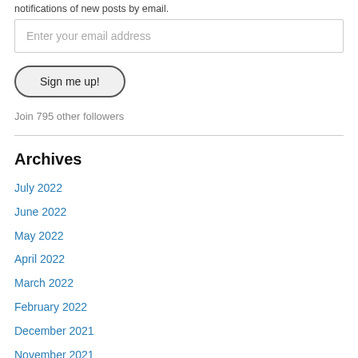notifications of new posts by email.
Enter your email address
Sign me up!
Join 795 other followers
Archives
July 2022
June 2022
May 2022
April 2022
March 2022
February 2022
December 2021
November 2021
October 2021
September 2021